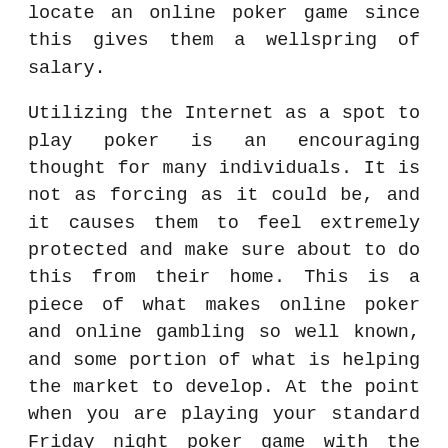locate an online poker game since this gives them a wellspring of salary.

Utilizing the Internet as a spot to play poker is an encouraging thought for many individuals. It is not as forcing as it could be, and it causes them to feel extremely protected and make sure about to do this from their home. This is a piece of what makes online poker and online gambling so well known, and some portion of what is helping the market to develop. At the point when you are playing your standard Friday night poker game with the folks, you can rely upon viewing your pal's face and getting those tells that give clues into what he is grasping. With online poker games notwithstanding, here are the findings you do not have that up close and personal connection. It requires some investment; however you can inevitably make sense of what hands your online adversaries may play in a game.